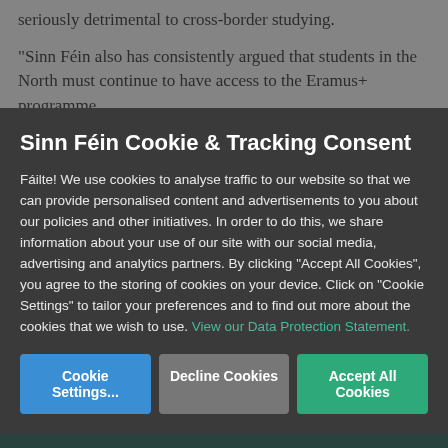seriously detrimental to cross-border studying.
“Sinn Féin also has consistently argued that students in the North must continue to have access to the Eramus+ programme.
Sinn Féin Cookie & Tracking Consent
Fáilte! We use cookies to analyse traffic to our website so that we can provide personalised content and advertisements to you about our policies and other initiatives. In order to do this, we share information about your use of our site with our social media, advertising and analytics partners. By clicking “Accept All Cookies”, you agree to the storing of cookies on your device. Click on “Cookie Settings” to tailor your preferences and to find out more about the cookies that we wish to use. View our Data Protection Statement.
Cookie Settings...
Decline Cookies
Accept All Cookies
political representatives, their student union reps or their trade union or other representative bodies in work, and tell them what is important to young people."